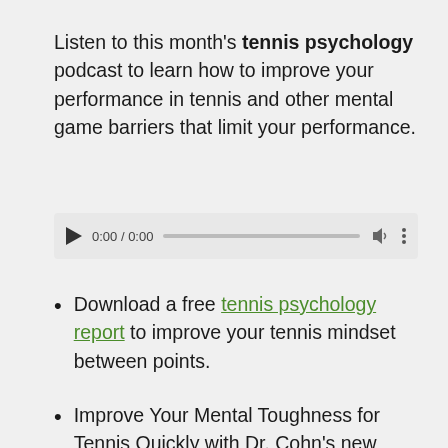Listen to this month's tennis psychology podcast to learn how to improve your performance in tennis and other mental game barriers that limit your performance.
[Figure (other): Audio player widget showing play button, time display 0:00 / 0:00, progress bar, volume icon, and more options icon]
Download a free tennis psychology report to improve your tennis mindset between points.
Improve Your Mental Toughness for Tennis Quickly with Dr. Cohn's new